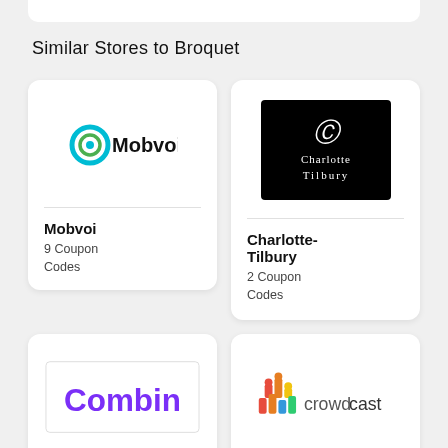Similar Stores to Broquet
[Figure (logo): Mobvoi logo: circular teal/blue icon with letter O and text Mobvoi]
Mobvoi
9 Coupon Codes
[Figure (logo): Charlotte Tilbury logo: black background with stylized CT monogram and text Charlotte Tilbury]
Charlotte-Tilbury
2 Coupon Codes
[Figure (logo): Combin logo: purple text spelling Combin]
[Figure (logo): Crowdcast logo: colorful audience icon with text crowdcast]